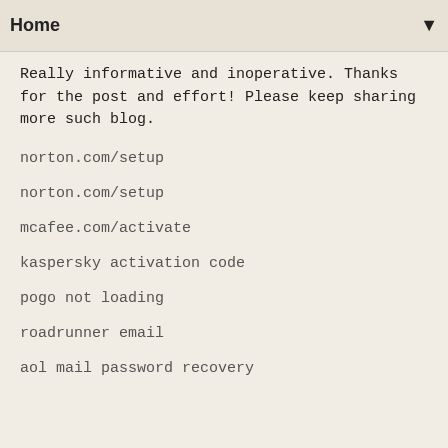Home
Really informative and inoperative. Thanks for the post and effort! Please keep sharing more such blog.
norton.com/setup
norton.com/setup
mcafee.com/activate
kaspersky activation code
pogo not loading
roadrunner email
aol mail password recovery